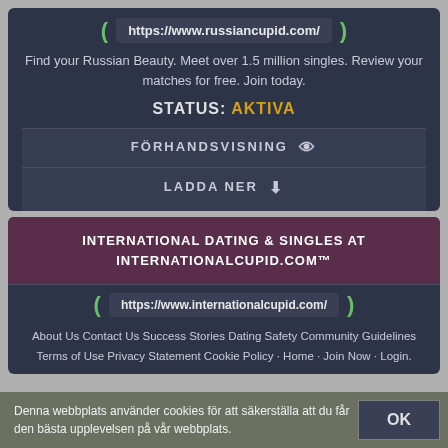https://www.russiancupid.com/
Find your Russian Beauty. Meet over 1.5 million singles. Review your matches for free. Join today.
STATUS: AKTIVA
FÖRHANDSVISNING
LADDA NER
INTERNATIONAL DATING & SINGLES AT INTERNATIONALCUPID.COM™
https://www.internationalcupid.com/
About Us Contact Us Success Stories Dating Safety Community Guidelines Terms of Use Privacy Statement Cookie Policy · Home · Join Now · Login.
Denna webbplats använder cookies för att säkerställa att du får den bästa upplevelsen på vår webbplats.